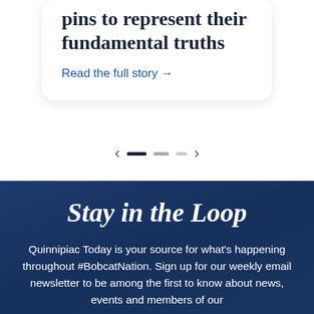pins to represent their fundamental truths
Read the full story →
[Figure (other): Carousel navigation with left arrow, three indicator dots (one active dark, two lighter), and right arrow]
Stay in the Loop
Quinnipiac Today is your source for what's happening throughout #BobcatNation. Sign up for our weekly email newsletter to be among the first to know about news, events and members of our